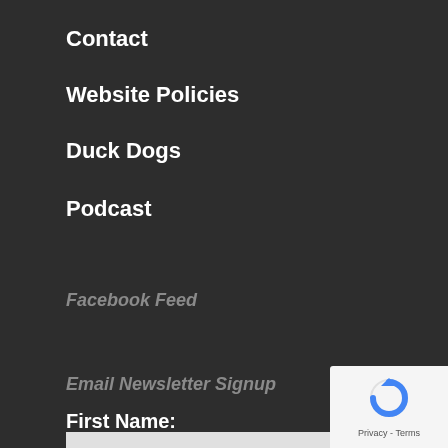Contact
Website Policies
Duck Dogs
Podcast
Facebook Feed
Email Newsletter Signup
First Name:
[Figure (other): reCAPTCHA badge with circular arrow logo and 'Privacy - Terms' text]